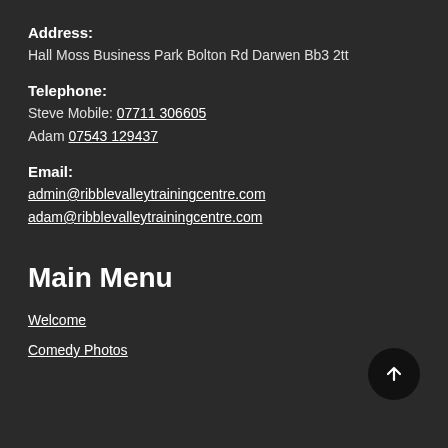Address:
Hall Moss Business Park Bolton Rd Darwen Bb3 2tt
Telephone:
Steve Mobile: 07711 306605
Adam 07543 129437
Email:
admin@ribblevalleytrainingcentre.com
adam@ribblevalleytrainingcentre.com
Main Menu
Welcome
Comedy Photos